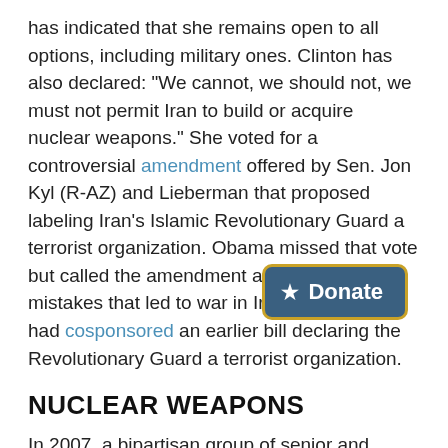has indicated that she remains open to all options, including military ones. Clinton has also declared: "We cannot, we should not, we must not permit Iran to build or acquire nuclear weapons." She voted for a controversial amendment offered by Sen. Jon Kyl (R-AZ) and Lieberman that proposed labeling Iran's Islamic Revolutionary Guard a terrorist organization. Obama missed that vote but called the amendment a repeat of the mistakes that led to war in Iraq; however, he had cosponsored an earlier bill declaring the Revolutionary Guard a terrorist organization.
NUCLEAR WEAPONS
In 2007, a bipartisan group of senior and former government officials called for moving toward a "world free of nuclear weapons." In their article by